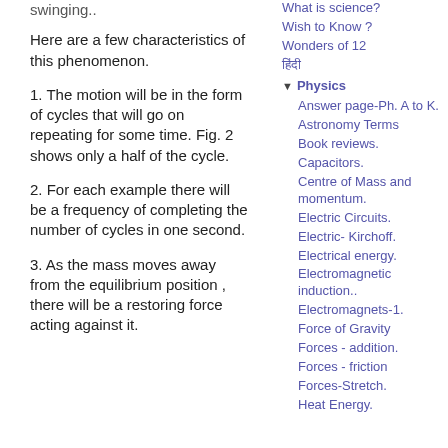swinging..
Here are a few characteristics of this phenomenon.
1.  The motion will be in the form of cycles that will go on repeating for some time. Fig. 2 shows only a half of the cycle.
2.  For each example there will be a frequency of completing the number of cycles in one second.
3.  As the mass moves away from the equilibrium position , there will be a restoring force acting against it.
What is science?
Wish to Know ?
Wonders of 12
हिंदी
Physics
Answer page-Ph. A to K.
Astronomy Terms
Book reviews.
Capacitors.
Centre of  Mass and momentum.
Electric Circuits.
Electric- Kirchoff.
Electrical energy.
Electromagnetic induction..
Electromagnets-1.
Force of Gravity
Forces - addition.
Forces - friction
Forces-Stretch.
Heat Energy.